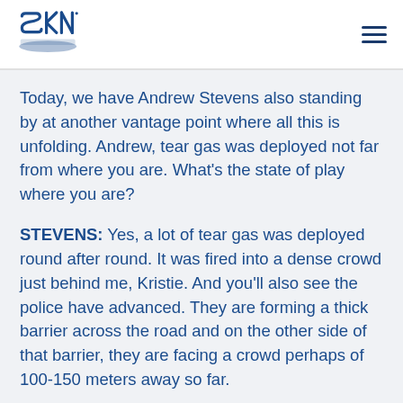SKN logo and navigation
Today, we have Andrew Stevens also standing by at another vantage point where all this is unfolding. Andrew, tear gas was deployed not far from where you are. What's the state of play where you are?
STEVENS: Yes, a lot of tear gas was deployed round after round. It was fired into a dense crowd just behind me, Kristie. And you'll also see the police have advanced. They are forming a thick barrier across the road and on the other side of that barrier, they are facing a crowd perhaps of 100-150 meters away so far.
Yes, a lot of tear gas, as you say, has been fired. It's hanging quite heavy in the air which makes it fairly uncomfortable for everybody here at the moment. The